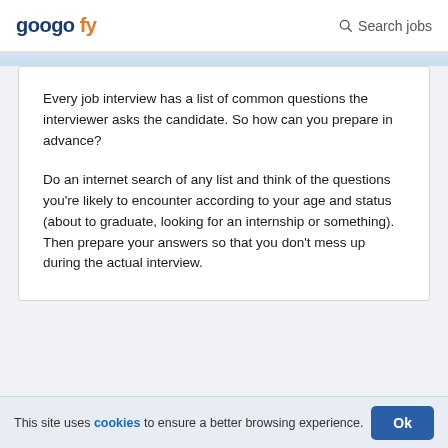googofy  Search jobs
Every job interview has a list of common questions the interviewer asks the candidate. So how can you prepare in advance?

Do an internet search of any list and think of the questions you’re likely to encounter according to your age and status (about to graduate, looking for an internship or something). Then prepare your answers so that you don’t mess up during the actual interview.
This site uses cookies to ensure a better browsing experience.  Ok